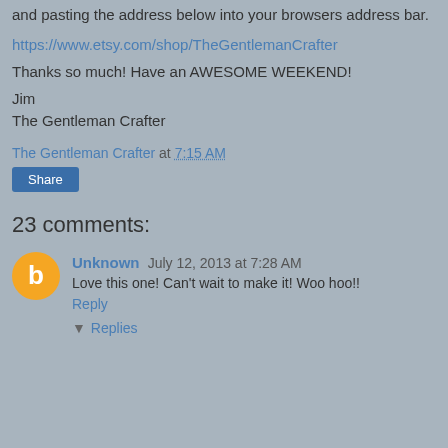and pasting the address below into your browsers address bar.
https://www.etsy.com/shop/TheGentlemanCrafter
Thanks so much!  Have an AWESOME WEEKEND!
Jim
The Gentleman Crafter
The Gentleman Crafter at 7:15 AM
Share
23 comments:
Unknown July 12, 2013 at 7:28 AM
Love this one! Can't wait to make it! Woo hoo!!
Reply
Replies